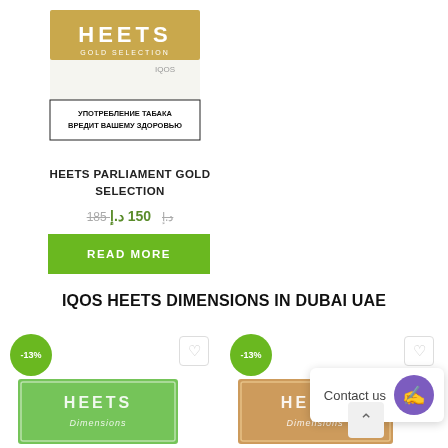[Figure (photo): HEETS Parliament Gold Selection product pack image with Russian health warning text]
HEETS PARLIAMENT GOLD SELECTION
185 د.إ  150 د.إ
READ MORE
IQOS HEETS DIMENSIONS IN DUBAI UAE
[Figure (photo): HEETS Dimensions green pack with -13% badge]
[Figure (photo): HEETS Dimensions bronze/gold pack with -13% badge]
Contact us